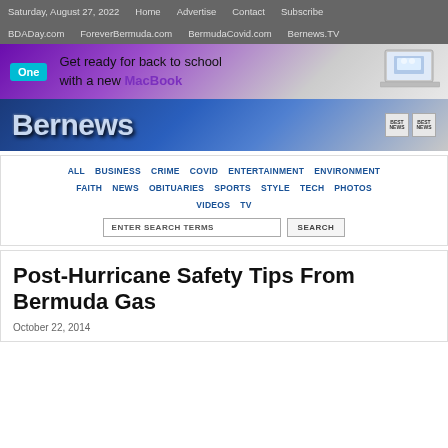Saturday, August 27, 2022   Home   Advertise   Contact   Subscribe   BDADay.com   ForeverBermuda.com   BermudaCovid.com   Bernews.TV
[Figure (infographic): Advertisement banner: One (teal logo), Get ready for back to school with a new MacBook (purple text), laptop image on right]
[Figure (logo): Bernews logo on blue gradient background with award badges]
ALL   BUSINESS   CRIME   COVID   ENTERTAINMENT   ENVIRONMENT   FAITH   NEWS   OBITUARIES   SPORTS   STYLE   TECH   PHOTOS   VIDEOS   TV
ENTER SEARCH TERMS   SEARCH
Post-Hurricane Safety Tips From Bermuda Gas
October 22, 2014